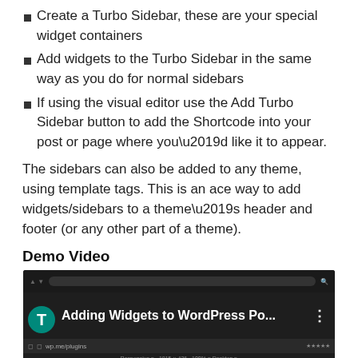Create a Turbo Sidebar, these are your special widget containers
Add widgets to the Turbo Sidebar in the same way as you do for normal sidebars
If using the visual editor use the Add Turbo Sidebar button to add the Shortcode into your post or page where you’d like it to appear.
The sidebars can also be added to any theme, using template tags. This is an ace way to add widgets/sidebars to a theme’s header and footer (or any other part of a theme).
Demo Video
[Figure (screenshot): Screenshot of a YouTube video titled 'Adding Widgets to WordPress Po...' with a teal circular T avatar icon, dark browser UI showing address bar and responsive controls.]